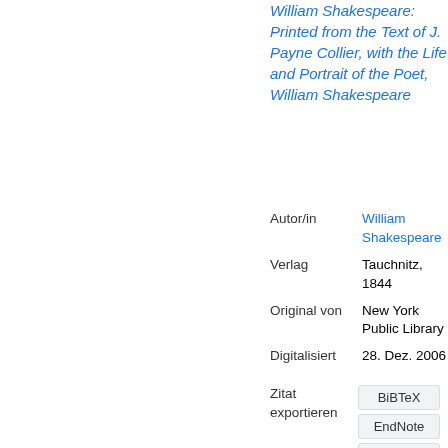William Shakespeare: Printed from the Text of J. Payne Collier, with the Life and Portrait of the Poet, William Shakespeare
| Autor/in | William Shakespeare |
| Verlag | Tauchnitz, 1844 |
| Original von | New York Public Library |
| Digitalisiert | 28. Dez. 2006 |
Zitat exportieren
BiBTeX
EndNote
RefM...